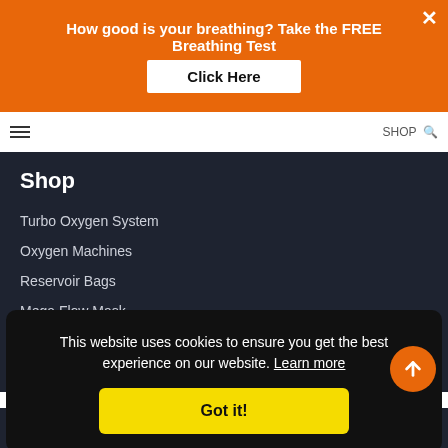How good is your breathing? Take the FREE Breathing Test
Click Here
Shop
Turbo Oxygen System
Oxygen Machines
Reservoir Bags
Mega Flow Mask
Breathing Kit
This website uses cookies to ensure you get the best experience on our website. Learn more
Got it!
Resources